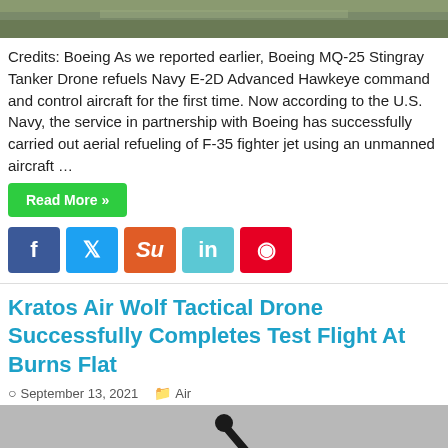[Figure (photo): Aerial photo of aircraft or landscape, top portion of page]
Credits: Boeing As we reported earlier, Boeing MQ-25 Stingray Tanker Drone refuels Navy E-2D Advanced Hawkeye command and control aircraft for the first time. Now according to the U.S. Navy, the service in partnership with Boeing has successfully carried out aerial refueling of F-35 fighter jet using an unmanned aircraft …
Read More »
[Figure (infographic): Social media share buttons: Facebook, Twitter, StumbleUpon, LinkedIn, Pinterest]
Kratos Air Wolf Tactical Drone Successfully Completes Test Flight At Burns Flat
September 13, 2021  Air
[Figure (photo): Grayscale photo showing a drone or aircraft part on the ground]